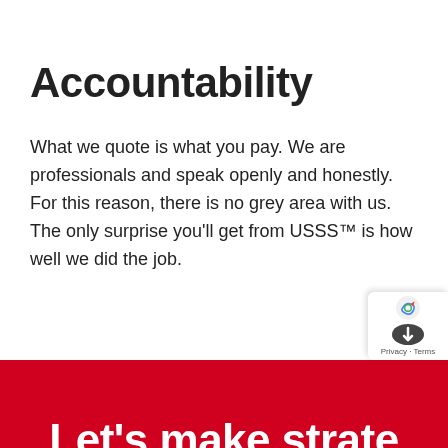Accountability
What we quote is what you pay. We are professionals and speak openly and honestly. For this reason, there is no grey area with us. The only surprise you'll get from USSS™ is how well we did the job.
Let's make strate